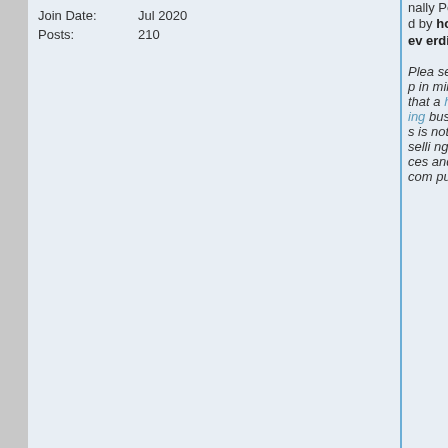Join Date: Jul 2020
Posts: 210
Originally Posted by hostneverdie
Please keep in mind that a hosting business is not only selling spaces and computing